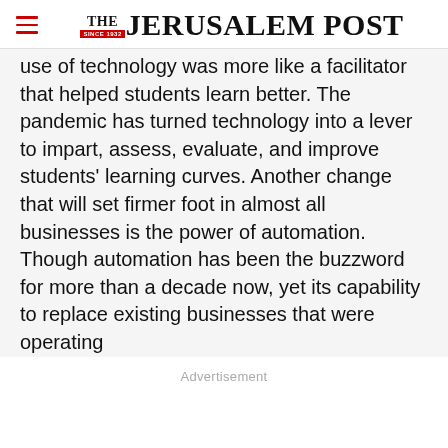The Jerusalem Post
use of technology was more like a facilitator that helped students learn better. The pandemic has turned technology into a lever to impart, assess, evaluate, and improve students' learning curves. Another change that will set firmer foot in almost all businesses is the power of automation. Though automation has been the buzzword for more than a decade now, yet its capability to replace existing businesses that were operating
Advertisement